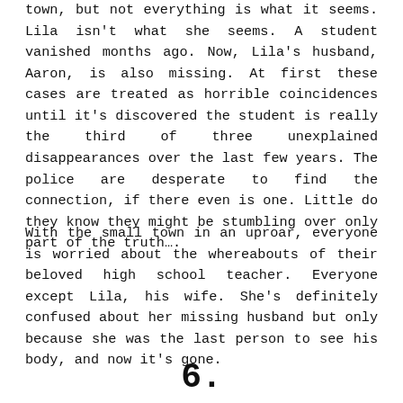town, but not everything is what it seems. Lila isn't what she seems. A student vanished months ago. Now, Lila's husband, Aaron, is also missing. At first these cases are treated as horrible coincidences until it's discovered the student is really the third of three unexplained disappearances over the last few years. The police are desperate to find the connection, if there even is one. Little do they know they might be stumbling over only part of the truth….
With the small town in an uproar, everyone is worried about the whereabouts of their beloved high school teacher. Everyone except Lila, his wife. She's definitely confused about her missing husband but only because she was the last person to see his body, and now it's gone.
6.